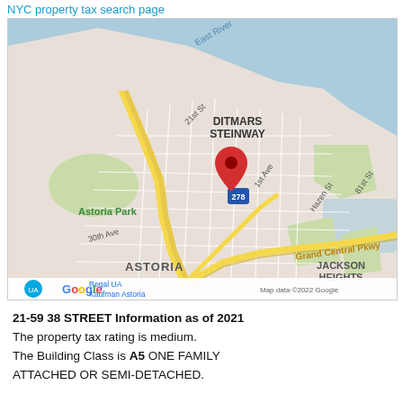NYC property tax search page
[Figure (map): Google Maps screenshot showing Astoria/Ditmars Steinway area in Queens, NY with a red location pin near 21-59 38 Street. Shows East River, Astoria Park, Grand Central Pkwy, Jackson Heights labels. Map data ©2022 Google.]
21-59 38 STREET Information as of 2021
The property tax rating is medium.
The Building Class is A5 ONE FAMILY ATTACHED OR SEMI-DETACHED.